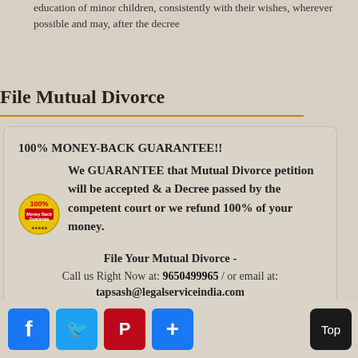education of minor children, consistently with their wishes, wherever possible and may, after the decree
File Mutual Divorce
100% MONEY-BACK GUARANTEE!! We GUARANTEE that Mutual Divorce petition will be accepted & a Decree passed by the competent court or we refund 100% of your money. File Your Mutual Divorce - Call us Right Now at: 9650499965 / or email at: tapsash@legalserviceindia.com
[Figure (logo): 100% Money Back Guarantee badge/seal]
[Figure (infographic): Social media share buttons: Facebook, Twitter, Pinterest, Plus; and a Top button]